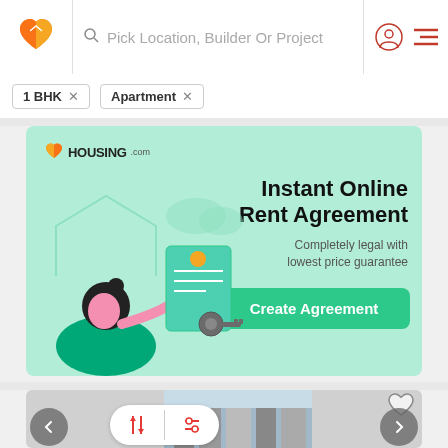[Figure (screenshot): Housing.com app header with logo, search bar 'Pick Location, Builder Or Project', user icon and hamburger menu]
1 BHK × Apartment ×
[Figure (illustration): Housing.com advertisement banner: 'Instant Online Rent Agreement - Completely legal with lowest price guarantee - Create Agreement button']
[Figure (photo): Property listing card showing a building photo with sort and filter buttons, navigation arrows, and a heart/save icon]